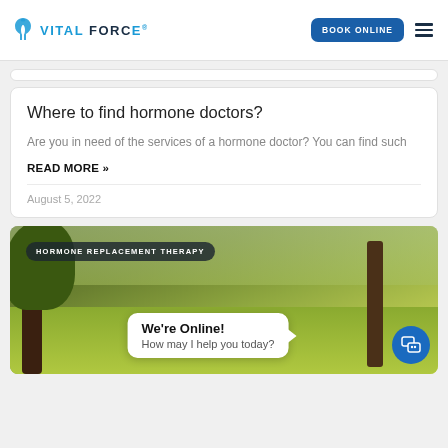VITAL FORCE | BOOK ONLINE
Where to find hormone doctors?
Are you in need of the services of a hormone doctor? You can find such
READ MORE »
August 5, 2022
[Figure (photo): Outdoor nature scene with trees and grass, with a category badge reading 'HORMONE REPLACEMENT THERAPY' and a chat widget saying 'We're Online! How may I help you today?']